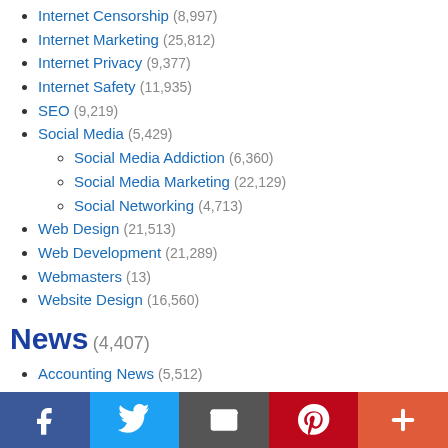Internet Censorship (8,997)
Internet Marketing (25,812)
Internet Privacy (9,377)
Internet Safety (11,935)
SEO (9,219)
Social Media (5,429)
Social Media Addiction (6,360)
Social Media Marketing (22,129)
Social Networking (4,713)
Web Design (21,513)
Web Development (21,289)
Webmasters (13)
Website Design (16,560)
News (4,407)
Accounting News (5,512)
Agriculture News (4,834)
Animal News (5,662)
Biology News (4,520)
Business News (29,758)
Celebrity News (4,616)